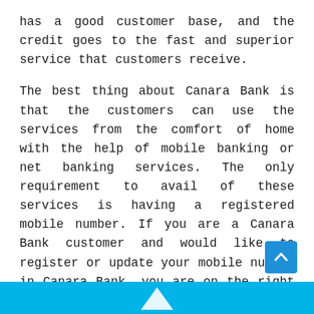has a good customer base, and the credit goes to the fast and superior service that customers receive.
The best thing about Canara Bank is that the customers can use the services from the comfort of home with the help of mobile banking or net banking services. The only requirement to avail of these services is having a registered mobile number. If you are a Canara Bank customer and would like to register or update your mobile number in Canara Bank, you are on the right page. You will find all the relevant details associated with registering the mobile number in Canara Bank on this page. Go ahead and check out the details in the next section of this page.